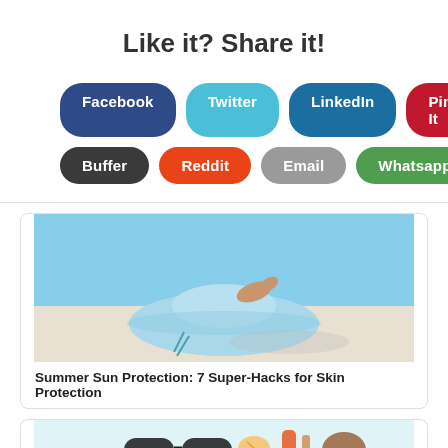Like it? Share it!
Facebook | Twitter | LinkedIn | Pin It | Buffer | Reddit | Email | Whatsapp
[Figure (screenshot): Card with beach photo (person lying on sand with blue sun hat) and link title 'Summer Sun Protection: 7 Super-Hacks for Skin Protection']
Summer Sun Protection: 7 Super-Hacks for Skin Protection
[Figure (screenshot): Partial card showing a beach/summer accessories photo (sunglasses, sunscreen, shells on blue background)]